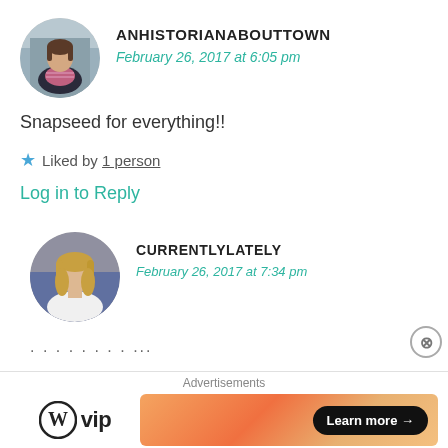[Figure (photo): Circular avatar photo of a woman sitting on steps, wearing a dark jacket]
ANHISTORIANABOUTTOWN
February 26, 2017 at 6:05 pm
Snapseed for everything!!
★ Liked by 1 person
Log in to Reply
[Figure (photo): Circular avatar photo of a young woman with long blonde hair, wearing a white top]
CURRENTLYLATELY
February 26, 2017 at 7:34 pm
…truncated comment text…
Advertisements
[Figure (logo): WordPress VIP logo with circle W icon and 'vip' text]
[Figure (infographic): Orange gradient advertisement banner with Learn more arrow button]